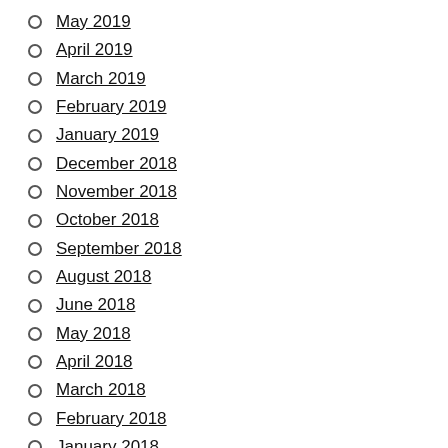May 2019
April 2019
March 2019
February 2019
January 2019
December 2018
November 2018
October 2018
September 2018
August 2018
June 2018
May 2018
April 2018
March 2018
February 2018
January 2018
December 2017